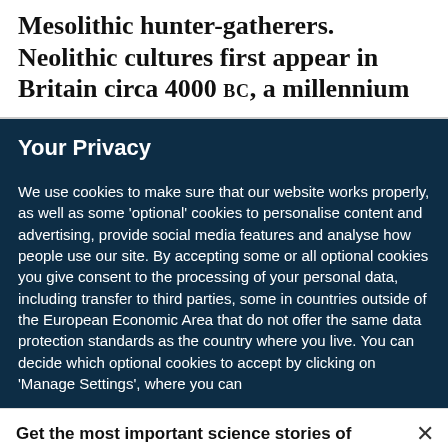Mesolithic hunter-gatherers. Neolithic cultures first appear in Britain circa 4000 BC, a millennium
Your Privacy
We use cookies to make sure that our website works properly, as well as some 'optional' cookies to personalise content and advertising, provide social media features and analyse how people use our site. By accepting some or all optional cookies you give consent to the processing of your personal data, including transfer to third parties, some in countries outside of the European Economic Area that do not offer the same data protection standards as the country where you live. You can decide which optional cookies to accept by clicking on 'Manage Settings', where you can
Get the most important science stories of the day, free in your inbox.
Sign up for Nature Briefing